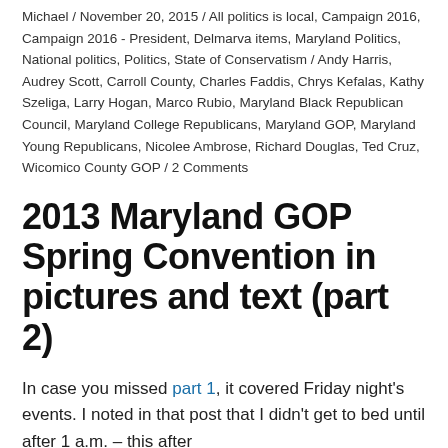Michael / November 20, 2015 / All politics is local, Campaign 2016, Campaign 2016 - President, Delmarva items, Maryland Politics, National politics, Politics, State of Conservatism / Andy Harris, Audrey Scott, Carroll County, Charles Faddis, Chrys Kefalas, Kathy Szeliga, Larry Hogan, Marco Rubio, Maryland Black Republican Council, Maryland College Republicans, Maryland GOP, Maryland Young Republicans, Nicolee Ambrose, Richard Douglas, Ted Cruz, Wicomico County GOP / 2 Comments
2013 Maryland GOP Spring Convention in pictures and text (part 2)
In case you missed part 1, it covered Friday night's events. I noted in that post that I didn't get to bed until after 1 a.m. – this after